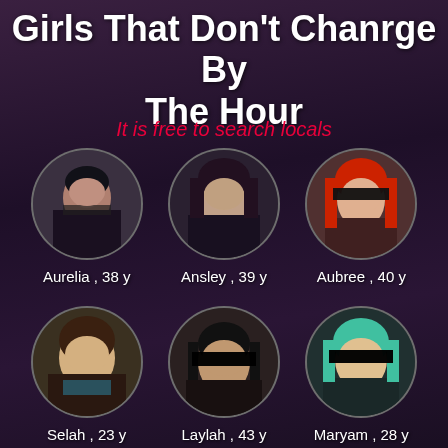Girls That Don't Chanrge By The Hour
It is free to search locals
[Figure (photo): Six circular profile photos of women with names and ages: Aurelia 38y, Ansley 39y, Aubree 40y, Selah 23y, Laylah 43y, Maryam 28y]